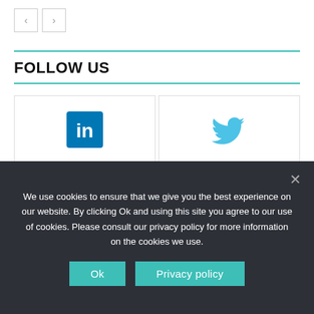[Figure (other): Navigation previous and next arrow buttons]
FOLLOW US
[Figure (infographic): LinkedIn followers card: 17,166 Followers]
[Figure (infographic): Twitter followers card: 6,851 Followers]
LATEST STORIES
We use cookies to ensure that we give you the best experience on our website. By clicking Ok and using this site you agree to our use of cookies. Please consult our privacy policy for more information on the cookies we use.